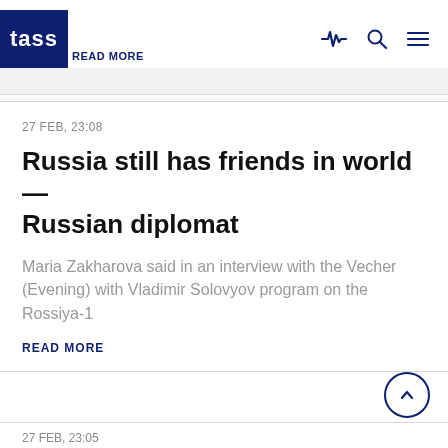[Figure (logo): TASS news agency logo: dark blue square with white lowercase 'tass' text]
READ MORE
27 FEB, 23:08
Russia still has friends in world — Russian diplomat
Maria Zakharova said in an interview with the Vecher (Evening) with Vladimir Solovyov program on the Rossiya-1
READ MORE